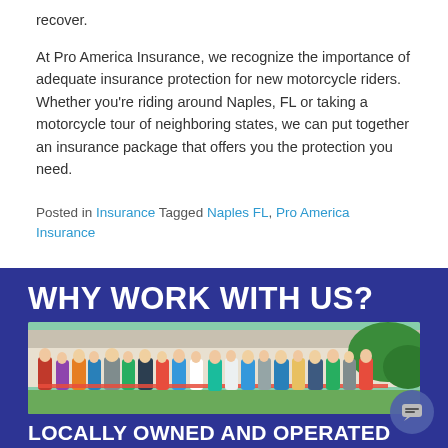recover.
At Pro America Insurance, we recognize the importance of adequate insurance protection for new motorcycle riders. Whether you’re riding around Naples, FL or taking a motorcycle tour of neighboring states, we can put together an insurance package that offers you the protection you need.
Posted in Insurance Tagged Naples FL, Pro America Insurance
[Figure (infographic): Blue banner section titled WHY WORK WITH US? with a group photo of people at a ribbon cutting ceremony, and LOCALLY OWNED AND OPERATED text below the photo.]